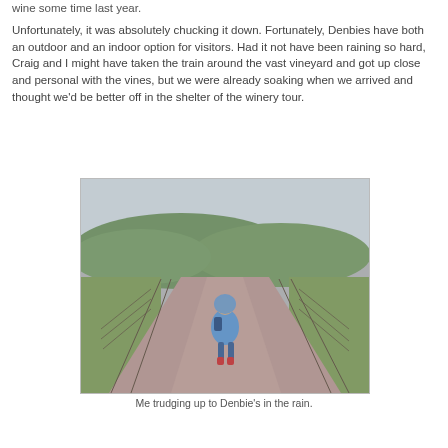wine some time last year.
Unfortunately, it was absolutely chucking it down. Fortunately, Denbies have both an outdoor and an indoor option for visitors. Had it not have been raining so hard, Craig and I might have taken the train around the vast vineyard and got up close and personal with the vines, but we were already soaking when we arrived and thought we'd be better off in the shelter of the winery tour.
[Figure (photo): Person in blue hoodie and red boots walking along a path through a vineyard on a rainy, overcast day, with green hills in the background.]
Me trudging up to Denbie's in the rain.